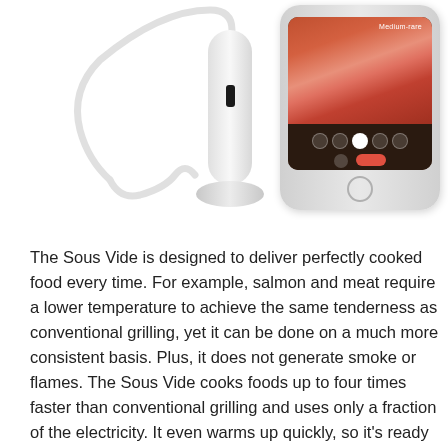[Figure (photo): Product photo showing a white Sous Vide immersion circulator device with cable, and a smartphone displaying a cooking app with a medium-rare steak image and temperature selection UI.]
The Sous Vide is designed to deliver perfectly cooked food every time. For example, salmon and meat require a lower temperature to achieve the same tenderness as conventional grilling, yet it can be done on a much more consistent basis. Plus, it does not generate smoke or flames. The Sous Vide cooks foods up to four times faster than conventional grilling and uses only a fraction of the electricity. It even warms up quickly, so it's ready to cook within minutes.